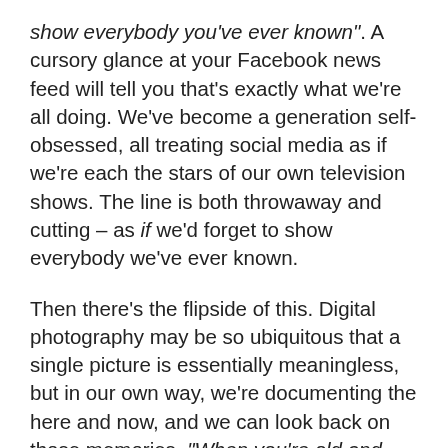show everybody you've ever known". A cursory glance at your Facebook news feed will tell you that's exactly what we're all doing. We've become a generation self-obsessed, all treating social media as if we're each the stars of our own television shows. The line is both throwaway and cutting – as if we'd forget to show everybody we've ever known.
Then there's the flipside of this. Digital photography may be so ubiquitous that a single picture is essentially meaningless, but in our own way, we're documenting the here and now, and we can look back on those memories. "When you're old and wise you'll find / All the shots you've got / Bring back the time it's easy to believe / Yesterday was so sweet". Think of the pangs of nostalgia or the Proustian rush that comes from Facebook reminding you a certain picture was taken on this day five years ago. It's